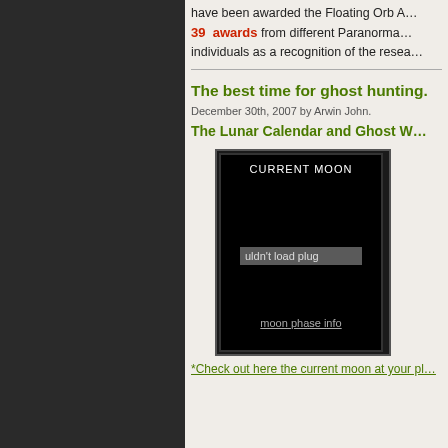have been awarded the Floating Orb A… 39 awards from different Paranorma… individuals as a recognition of the resea…
The best time for ghost hunting.
December 30th, 2007 by Arwin John.
The Lunar Calendar and Ghost W…
[Figure (screenshot): Moon phase widget with black background showing 'CURRENT MOON' label, a plugin load error message 'uldn't load plug', and a 'moon phase info' link at the bottom.]
*Check out here the current moon at your pl…
…